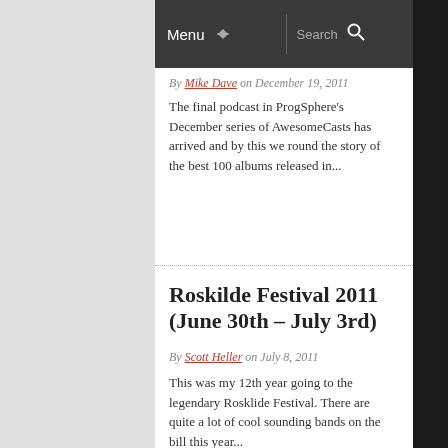Menu | Search
By Mike Dave on December 19, 2011
The final podcast in ProgSphere's December series of AwesomeCasts has arrived and by this we round the story of the best 100 albums released in...
Roskilde Festival 2011 (June 30th – July 3rd)
By Scott Heller on July 8, 2011
This was my 12th year going to the legendary Rosklide Festival. There are quite a lot of cool sounding bands on the bill this year...
Page 1 of 2  1  2